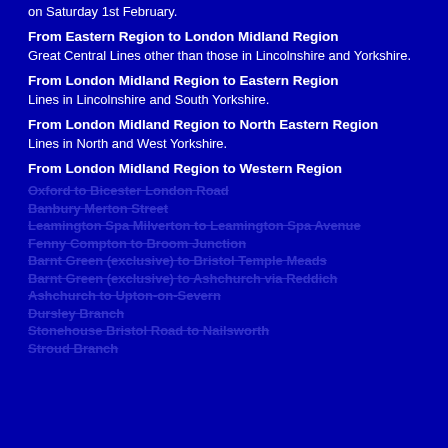on Saturday 1st February.
From Eastern Region to London Midland Region
Great Central Lines other than those in Lincolnshire and Yorkshire.
From London Midland Region to Eastern Region
Lines in Lincolnshire and South Yorkshire.
From London Midland Region to North Eastern Region
Lines in North and West Yorkshire.
From London Midland Region to Western Region
Oxford to Bicester London Road
Banbury Merton Street
Leamington Spa Milverton to Leamington Spa Avenue
Fenny Compton to Broom Junction
Barnt Green (exclusive) to Bristol Temple Meads
Barnt Green (exclusive) to Ashchurch via Reddich
Ashchurch to Upton-on-Severn
Dursley Branch
Stonehouse Bristol Road to Nailsworth
Stroud Branch